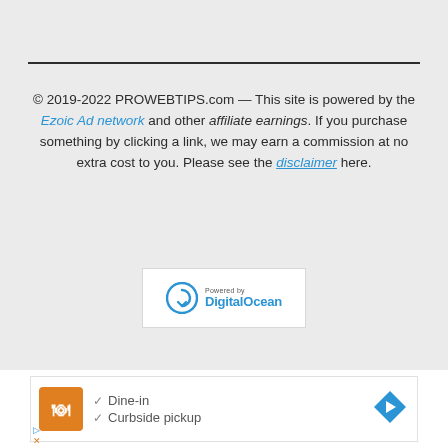© 2019-2022 PROWEBTIPS.com — This site is powered by the Ezoic Ad network and other affiliate earnings. If you purchase something by clicking a link, we may earn a commission at no extra cost to you. Please see the disclaimer here.
[Figure (logo): Powered by DigitalOcean logo badge — white rectangle with DigitalOcean wordmark and circular arrow icon in blue]
[Figure (screenshot): Advertisement showing a restaurant listing with orange icon, checkmarks for Dine-in and Curbside pickup, and a blue navigation arrow icon]